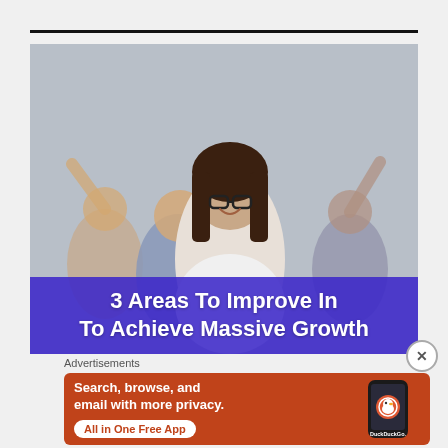[Figure (photo): Group of cheerful people with arms raised celebrating, woman with glasses in center foreground, with overlaid purple banner text '3 Areas To Improve In To Achieve Massive Growth']
Advertisements
[Figure (infographic): DuckDuckGo advertisement banner on orange/red background. Text: 'Search, browse, and email with more privacy. All in One Free App' with DuckDuckGo logo and phone mockup.]